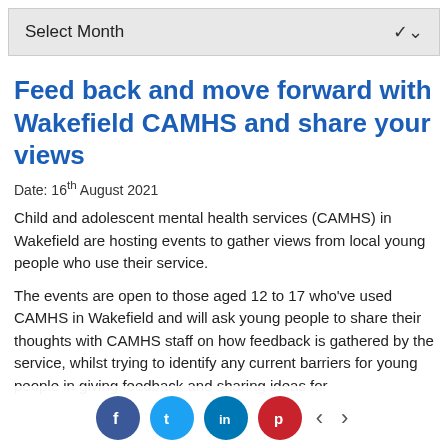Select Month
Feed back and move forward with Wakefield CAMHS and share your views
Date: 16th August 2021
Child and adolescent mental health services (CAMHS) in Wakefield are hosting events to gather views from local young people who use their service.
The events are open to those aged 12 to 17 who've used CAMHS in Wakefield and will ask young people to share their thoughts with CAMHS staff on how feedback is gathered by the service, whilst trying to identify any current barriers for young people in giving feedback and sharing ideas for